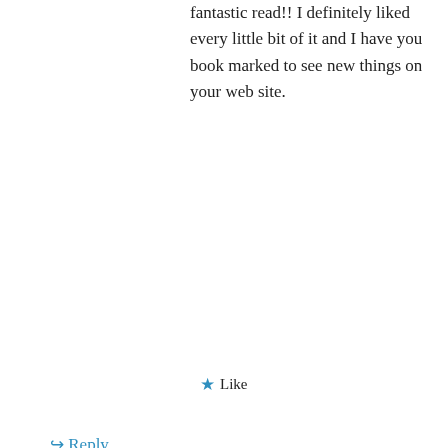fantastic read!! I definitely liked every little bit of it and I have you book marked to see new things on your web site.
★ Like
↳ Reply
ios 7 ipad quando esce on 22/02/2015 at 7:55 pm
Privacy & Cookies: This site uses cookies. By continuing to use this website, you agree to their use.
To find out more, including how to control cookies, see here: Cookie Policy
Close and accept